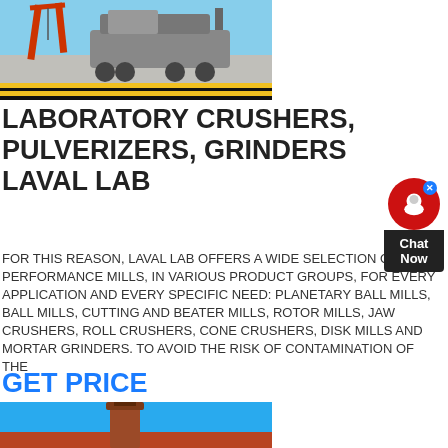[Figure (photo): Industrial crane and heavy machinery on a port/dock area with yellow safety striping on the ground, blue sky background]
LABORATORY CRUSHERS, PULVERIZERS, GRINDERS LAVAL LAB
FOR THIS REASON, LAVAL LAB OFFERS A WIDE SELECTION OF HIGH-PERFORMANCE MILLS, IN VARIOUS PRODUCT GROUPS, FOR EVERY APPLICATION AND EVERY SPECIFIC NEED: PLANETARY BALL MILLS, BALL MILLS, CUTTING AND BEATER MILLS, ROTOR MILLS, JAW CRUSHERS, ROLL CRUSHERS, CONE CRUSHERS, DISK MILLS AND MORTAR GRINDERS. TO AVOID THE RISK OF CONTAMINATION OF THE
GET PRICE
[Figure (photo): Industrial chimney or tower structure against a blue sky background]